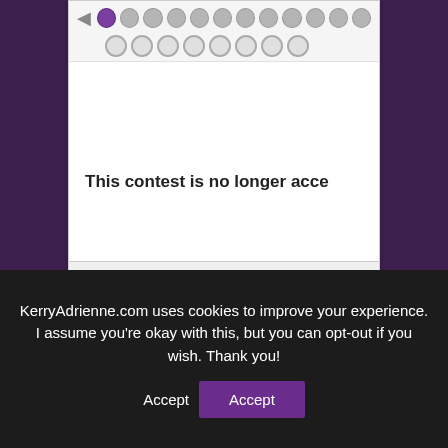[Figure (screenshot): Rafflecopter giveaway widget showing a row of purple and grey circular icons at top, then 'This contest is no longer acce[pting entries]' message, and 'powered by Rafflecopter' at the bottom]
Filed Under: Blog Hop, book promo, contests
KerryAdrienne.com uses cookies to improve your experience. I assume you're okay with this, but you can opt-out if you wish. Thank you!